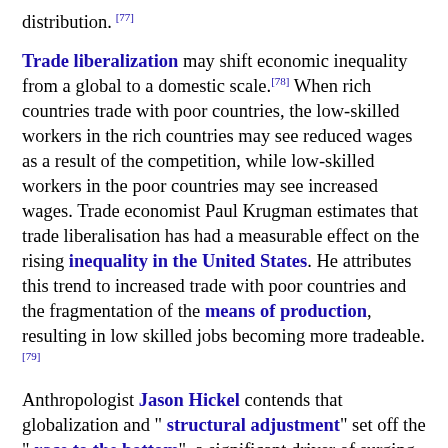distribution. [77]
Trade liberalization may shift economic inequality from a global to a domestic scale. [78] When rich countries trade with poor countries, the low-skilled workers in the rich countries may see reduced wages as a result of the competition, while low-skilled workers in the poor countries may see increased wages. Trade economist Paul Krugman estimates that trade liberalisation has had a measurable effect on the rising inequality in the United States. He attributes this trend to increased trade with poor countries and the fragmentation of the means of production, resulting in low skilled jobs becoming more tradeable. [79]
Anthropologist Jason Hickel contends that globalization and " structural adjustment" set off the " race to the bottom", a significant driver of surging global inequality. Another driver